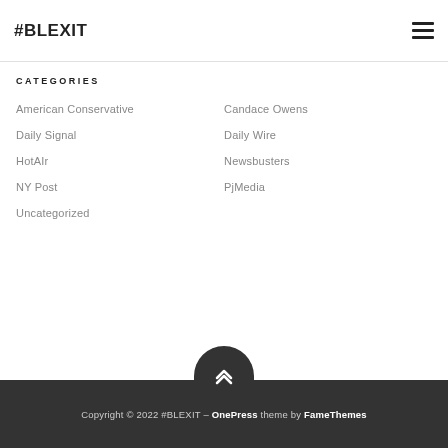#BLEXIT
CATEGORIES
American Conservative
Candace Owens
Daily Signal
Daily Wire
HotAIr
Newsbusters
NY Post
PjMedia
Uncategorized
Copyright © 2022 #BLEXIT – OnePress theme by FameThemes